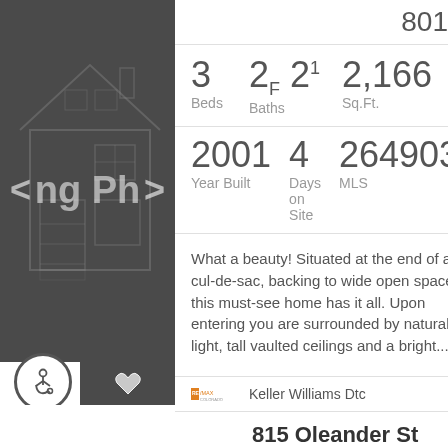80109
3 Beds  2F 21/2 Baths  2,166 Sq.Ft.
2001 Year Built  4 Days on Site  2649033 MLS
What a beauty! Situated at the end of a cul-de-sac, backing to wide open space, this must-see home has it all. Upon entering you are surrounded by natural light, tall vaulted ceilings and a bright...
Keller Williams Dtc
[Figure (photo): Dark gray panel with faint house outline illustration and navigation arrows, partial text 'ng Ph']
815 Oleander St